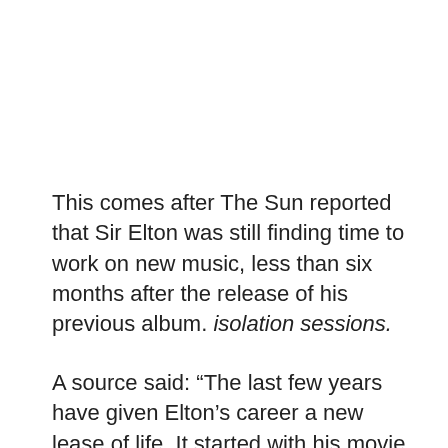This comes after The Sun reported that Sir Elton was still finding time to work on new music, less than six months after the release of his previous album. isolation sessions.
A source said: “The last few years have given Elton’s career a new lease of life. It started with his movie rocket man, then Cold heart with Dua Lipa took it to the next level, taking it to the top spot.